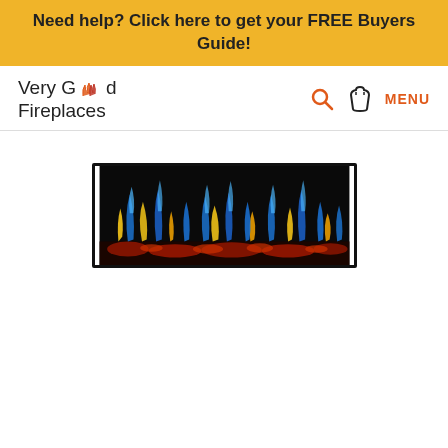Need help? Click here to get your FREE Buyers Guide!
[Figure (logo): Very Good Fireplaces logo with flame icons, plus search, bag, and MENU navigation icons]
[Figure (photo): Electric fireplace insert showing blue and yellow flames with glowing red ember bed on black background]